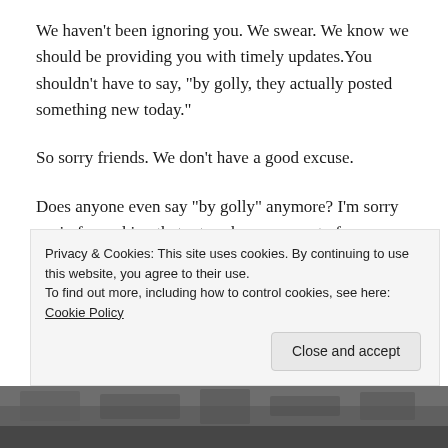We haven't been ignoring you. We swear. We know we should be providing you with timely updates. You shouldn't have to say, “by golly, they actually posted something new today.”
So sorry friends. We don’t have a good excuse.
Does anyone even say “by golly” anymore? I’m sorry again for making that retro phrase pop out of your mouth. Apparently I’m channelling, “Leave it to Beaver” this morning.
Happy Monday to you. Happy Spring too. Though, it isn’t very springy in Minneapolis. It’s cloudy, 40-degrees, and snow still covers my yard. It’s ugly snow too. Check out Nicollet Avenue
Privacy & Cookies: This site uses cookies. By continuing to use this website, you agree to their use.
To find out more, including how to control cookies, see here: Cookie Policy
[Figure (photo): Bottom strip showing a dark outdoor photo, partially visible]